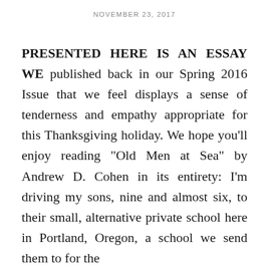NOVEMBER 23, 2017
PRESENTED HERE IS AN ESSAY WE published back in our Spring 2016 Issue that we feel displays a sense of tenderness and empathy appropriate for this Thanksgiving holiday. We hope you’ll enjoy reading “Old Men at Sea” by Andrew D. Cohen in its entirety: I’m driving my sons, nine and almost six, to their small, alternative private school here in Portland, Oregon, a school we send them to for the